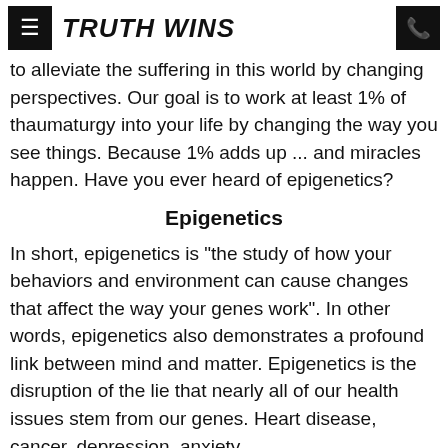Truth Wins
to alleviate the suffering in this world by changing perspectives. Our goal is to work at least 1% of thaumaturgy into your life by changing the way you see things. Because 1% adds up ... and miracles happen. Have you ever heard of epigenetics?
Epigenetics
In short, epigenetics is "the study of how your behaviors and environment can cause changes that affect the way your genes work". In other words, epigenetics also demonstrates a profound link between mind and matter. Epigenetics is the disruption of the lie that nearly all of our health issues stem from our genes. Heart disease, cancer, depression, anxiety,